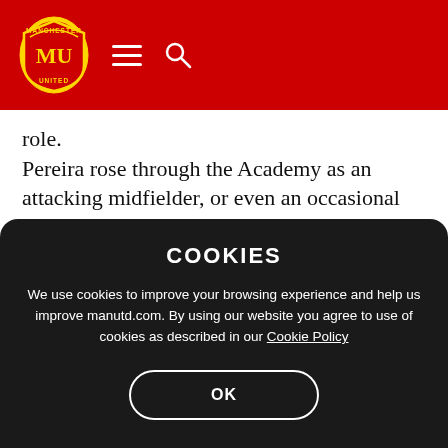Manchester United header with crest, hamburger menu, and search icon
role.
Pereira rose through the Academy as an attacking midfielder, or even an occasional forward, with great technical ability and that comfort on the ball is aiding his form in the middle of the park, where his passing is often crisp and intuitive. Doing the
COOKIES
We use cookies to improve your browsing experience and help us improve manutd.com. By using our website you agree to use of cookies as described in our Cookie Policy
OK